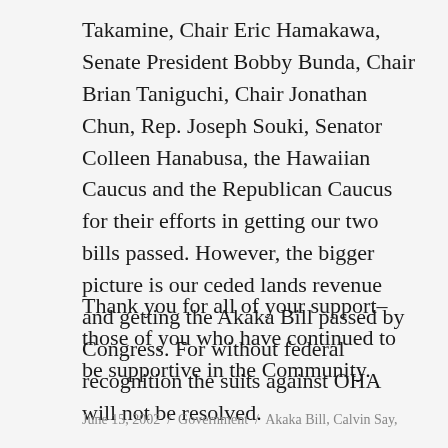Takamine, Chair Eric Hamakawa, Senate President Bobby Bunda, Chair Brian Taniguchi, Chair Jonathan Chun, Rep. Joseph Souki, Senator Colleen Hanabusa, the Hawaiian Caucus and the Republican Caucus for their efforts in getting our two bills passed. However, the bigger picture is our ceded lands revenue and getting the Akaka Bill passed by Congress. For without federal recognition the suits against OHA will not be resolved.
Thank you for all of your support–those of you who have continued to be supportive in the Community.
June 15, 2002  /  Government  /  Akaka Bill, Calvin Say,